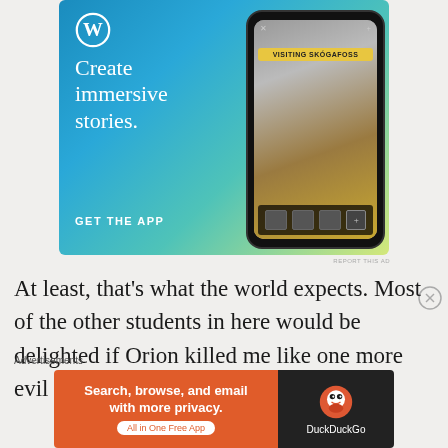[Figure (screenshot): WordPress 'Create immersive stories. GET THE APP' advertisement banner with a phone mockup showing a story about visiting Skógafoss waterfall]
At least, that's what the world expects. Most of the other students in here would be delighted if Orion killed me like one more evil thing that's crawled out
Advertisements
[Figure (screenshot): DuckDuckGo advertisement: 'Search, browse, and email with more privacy. All in One Free App' with DuckDuckGo logo on dark background]